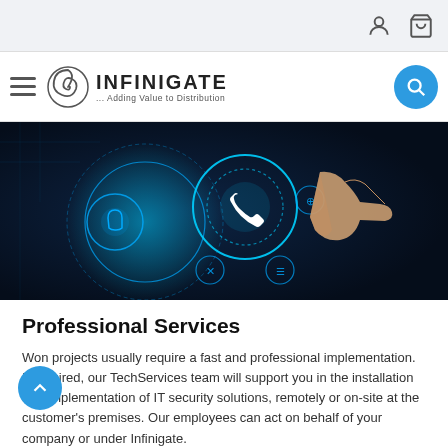Infinigate ... Adding Value to Distribution
[Figure (photo): Dark blue technology background showing glowing blue circular interface icons with a hand pointing finger, representing IT/communication services]
Professional Services
Won projects usually require a fast and professional implementation. If required, our TechServices team will support you in the installation and implementation of IT security solutions, remotely or on-site at the customer's premises. Our employees can act on behalf of your company or under Infinigate.